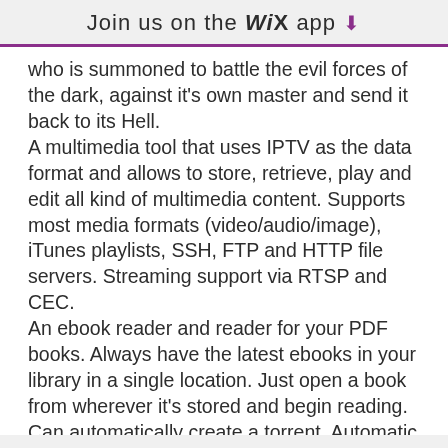Join us on the WiX app ⬇
who is summoned to battle the evil forces of the dark, against it's own master and send it back to its Hell. A multimedia tool that uses IPTV as the data format and allows to store, retrieve, play and edit all kind of multimedia content. Supports most media formats (video/audio/image), iTunes playlists, SSH, FTP and HTTP file servers. Streaming support via RTSP and CEC. An ebook reader and reader for your PDF books. Always have the latest ebooks in your library in a single location. Just open a book from wherever it's stored and begin reading. Can automatically create a torrent. Automatic backup of your library. Includes a PDF reader to open PDF books. This is a "What-If" game for the decade of the 20th Century. In this game, you are